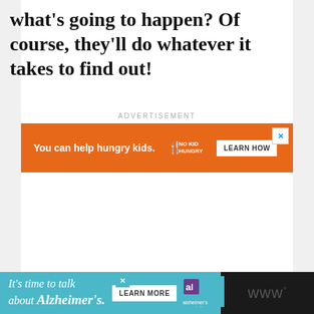what's going to happen? Of course, they'll do whatever it takes to find out!
[Figure (screenshot): Orange advertisement banner: 'You can help hungry kids.' with No Kid Hungry logo and 'LEARN HOW' button. Top-right has a close (X) button.]
[Figure (screenshot): Bottom advertisement bar on dark background with teal section: 'It's time to talk about Alzheimer's.' with a LEARN MORE button, Alzheimer's Association logo with close button, and dark section with triple-W logo.]